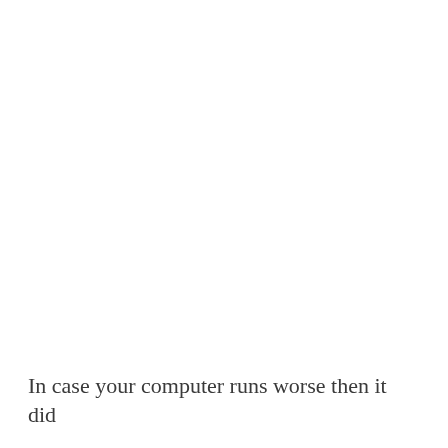In case your computer runs worse then it did